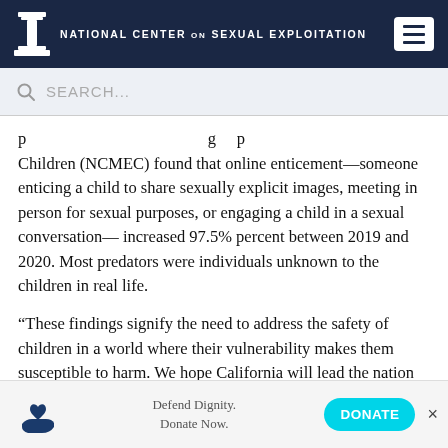National Center on Sexual Exploitation
Children (NCMEC) found that online enticement—someone enticing a child to share sexually explicit images, meeting in person for sexual purposes, or engaging a child in a sexual conversation—increased 97.5% percent between 2019 and 2020. Most predators were individuals unknown to the children in real life.
“These findings signify the need to address the safety of children in a world where their vulnerability makes them susceptible to harm. We hope California will lead the nation in protecting children from online harms by passing AB 2273,” Hawkins added.
Defend Dignity. Donate Now. DONATE